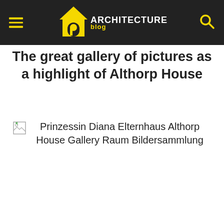ARCHITECTURE blog
The great gallery of pictures as a highlight of Althorp House
[Figure (photo): Broken image placeholder with alt text: Prinzessin Diana Elternhaus Althorp House Gallery Raum Bildersammlung]